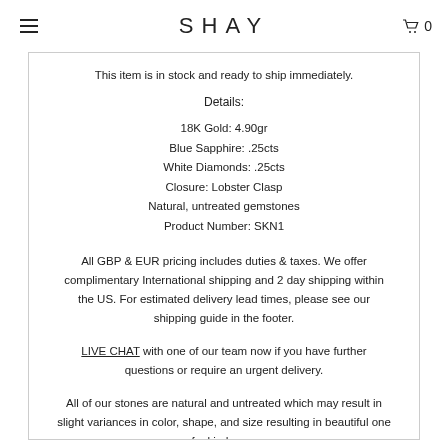SHAY
This item is in stock and ready to ship immediately.
Details:
18K Gold: 4.90gr
Blue Sapphire: .25cts
White Diamonds: .25cts
Closure: Lobster Clasp
Natural, untreated gemstones
Product Number: SKN1
All GBP & EUR pricing includes duties & taxes. We offer complimentary International shipping and 2 day shipping within the US. For estimated delivery lead times, please see our shipping guide in the footer.
LIVE CHAT with one of our team now if you have further questions or require an urgent delivery.
All of our stones are natural and untreated which may result in slight variances in color, shape, and size resulting in beautiful one of a kind gems.